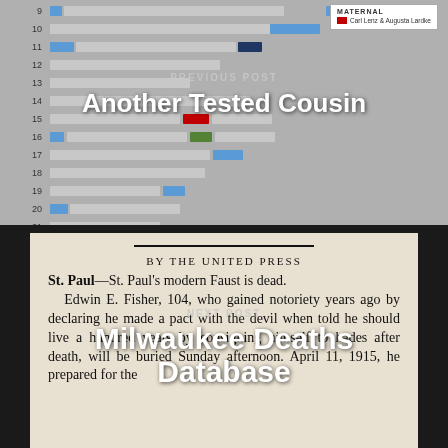[Figure (other): Chromosome/DNA comparison chart with colored segment bars on rows 9–22, with a legend top right showing MATERNAL Carl Lenz & Augusta Lardke in red]
PREVIOUS POST
Another Tested Cousin
[Figure (photo): Scanned newspaper clipping with text: BY THE UNITED PRESS. St. Paul—St. Paul's modern Faust is dead. Edwin E. Fisher, 104, who gained notoriety years ago by declaring he made a pact with the devil when told he should live a hundred years by consigning himself to hades after death, will be buried Sunday afternoon. April 11, 1915, he prepared for the]
NEXT POST
Milwaukee Deaths Database